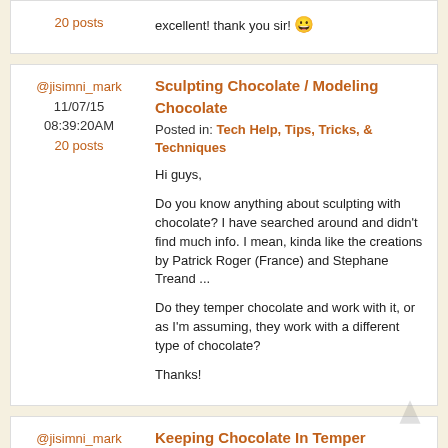20 posts
excellent! thank you sir! 😀
Sculpting Chocolate / Modeling Chocolate
Posted in: Tech Help, Tips, Tricks, & Techniques
@jisimni_mark
11/07/15
08:39:20AM
20 posts
Hi guys,

Do you know anything about sculpting with chocolate? I have searched around and didn't find much info. I mean, kinda like the creations by Patrick Roger (France) and Stephane Treand ...

Do they temper chocolate and work with it, or as I'm assuming, they work with a different type of chocolate?

Thanks!
Keeping Chocolate In Temper
Posted in: Tech Help, Tips, Tricks, & Techniques
@jisimni_mark
11/07/15
08:36:07AM
20 posts
Hello folks,